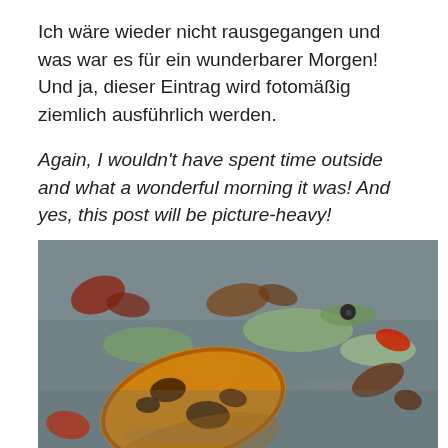Ich wäre wieder nicht rausgegangen und was war es für ein wunderbarer Morgen! Und ja, dieser Eintrag wird fotomäßig ziemlich ausführlich werden.
Again, I wouldn't have spent time outside and what a wonderful morning it was! And yes, this post will be picture-heavy!
[Figure (photo): Close-up photograph of autumn leaves and lily pads floating on water, with a yellow-orange leaf prominently in the foreground and its reflection visible in the still water.]